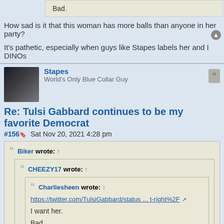Bad.
How sad is it that this woman has more balls than anyone in her party?
It's pathetic, especially when guys like Stapes labels her and I DINOs
Stapes
World's Only Blue Collar Guy
Re: Tulsi Gabbard continues to be my favorite Democrat
#156  Sat Nov 20, 2021 4:28 pm
Biker wrote: ↑
CHEEZY17 wrote: ↑
Charliesheen wrote: ↑
https://twitter.com/TulsiGabbard/status ... t-right%2F
I want her.
Bad.